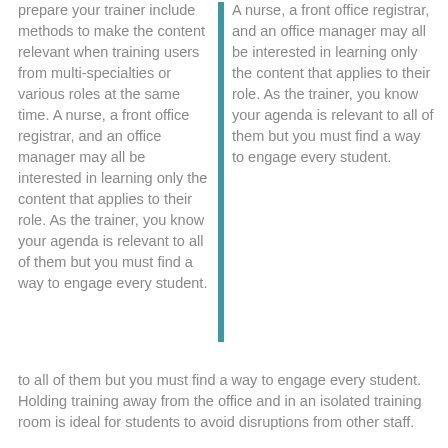prepare your trainer include methods to make the content relevant when training users from multi-specialties or various roles at the same time. A nurse, a front office registrar, and an office manager may all be interested in learning only the content that applies to their role.  As the trainer, you know your agenda is relevant to all of them but you must find a way to engage every student.  Holding training away from the office and in an isolated training room is ideal for students to avoid disruptions from other staff.
A nurse, a front office registrar, and an office manager may all be interested in learning only the content that applies to their role. As the trainer, you know your agenda is relevant to all of them but you must find a way to engage every student.
Another challenge is managing a class when side-bar